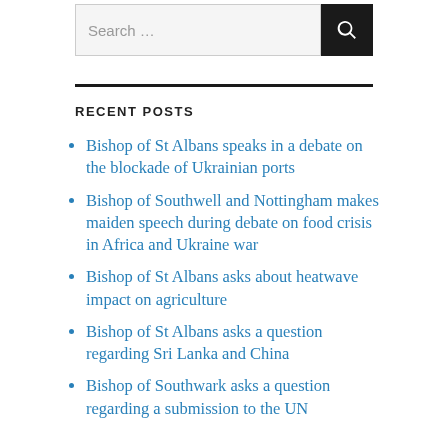Search …
RECENT POSTS
Bishop of St Albans speaks in a debate on the blockade of Ukrainian ports
Bishop of Southwell and Nottingham makes maiden speech during debate on food crisis in Africa and Ukraine war
Bishop of St Albans asks about heatwave impact on agriculture
Bishop of St Albans asks a question regarding Sri Lanka and China
Bishop of Southwark asks a question regarding a submission to the UN